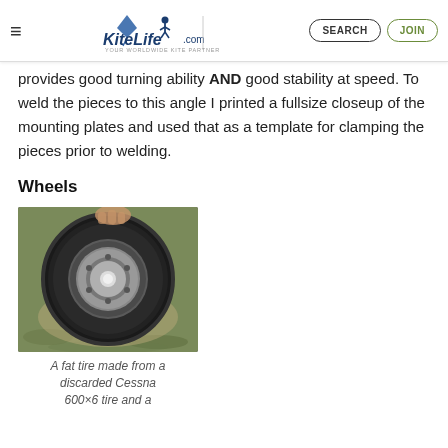KiteLife.com — YOUR WORLDWIDE KITE PARTNER | SEARCH | JOIN
provides good turning ability AND good stability at speed. To weld the pieces to this angle I printed a fullsize closeup of the mounting plates and used that as a template for clamping the pieces prior to welding.
Wheels
[Figure (photo): A large fat tire lying on grass, showing a metal hub with bolts and a white center axle. The tire appears to be from a Cessna aircraft.]
A fat tire made from a discarded Cessna 600×6 tire and a